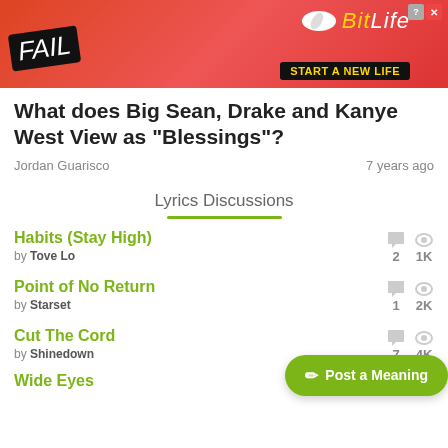[Figure (screenshot): Advertisement banner for BitLife game showing FAIL text and 'START A NEW LIFE' tagline]
What does Big Sean, Drake and Kanye West View as "Blessings"?
Jordan Guarisco   7 years ago
Lyrics Discussions
Habits (Stay High) by Tove Lo — 2 comments, 1K views
Point of No Return by Starset — 1 comment, 2K views
Cut The Cord by Shinedown — 7 comments, 4K views
Wide Eyes